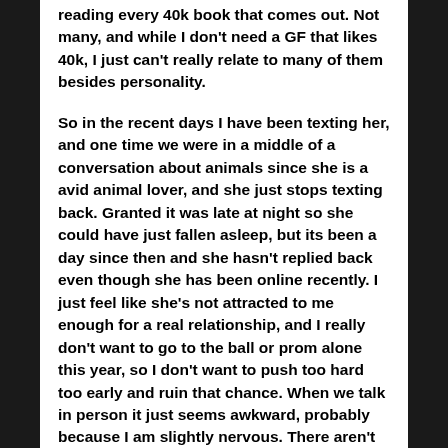reading every 40k book that comes out. Not many, and while I don't need a GF that likes 40k, I just can't really relate to many of them besides personality.
So in the recent days I have been texting her, and one time we were in a middle of a conversation about animals since she is a avid animal lover, and she just stops texting back. Granted it was late at night so she could have just fallen asleep, but its been a day since then and she hasn't replied back even though she has been online recently. I just feel like she's not attracted to me enough for a real relationship, and I really don't want to go to the ball or prom alone this year, so I don't want to push too hard too early and ruin that chance. When we talk in person it just seems awkward, probably because I am slightly nervous. There aren't many people I am interested in, and the few that I am are either taken, or I have no idea how to approach them.
I can't make a move, I can't think of what to do next, and